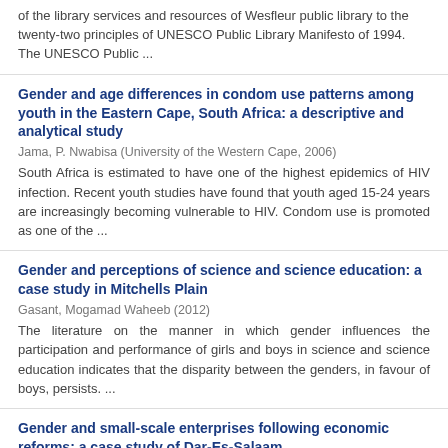of the library services and resources of Wesfleur public library to the twenty-two principles of UNESCO Public Library Manifesto of 1994. The UNESCO Public ...
Gender and age differences in condom use patterns among youth in the Eastern Cape, South Africa: a descriptive and analytical study
Jama, P. Nwabisa (University of the Western Cape, 2006)
South Africa is estimated to have one of the highest epidemics of HIV infection. Recent youth studies have found that youth aged 15-24 years are increasingly becoming vulnerable to HIV. Condom use is promoted as one of the ...
Gender and perceptions of science and science education: a case study in Mitchells Plain
Gasant, Mogamad Waheeb (2012)
The literature on the manner in which gender influences the participation and performance of girls and boys in science and science education indicates that the disparity between the genders, in favour of boys, persists. ...
Gender and small-scale enterprises following economic reforms: a case study of Dar-Es-Salaam
Iddi Mangi, Namini Scholasticka (University of the Western Cape, 2002)